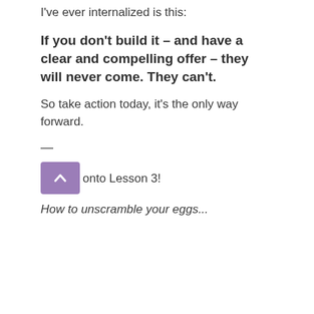I've ever internalized is this:
If you don't build it – and have a clear and compelling offer – they will never come. They can't.
So take action today, it's the only way forward.
—
Now onto Lesson 3!
How to unscramble your eggs...